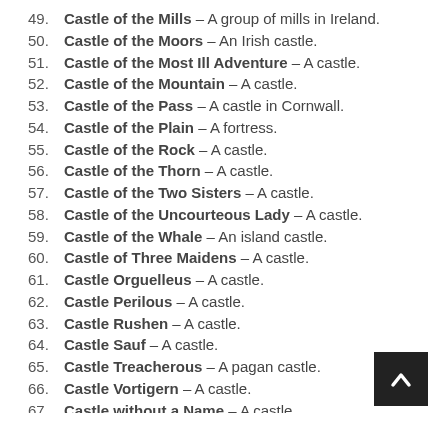49. Castle of the Mills – A group of mills in Ireland.
50. Castle of the Moors – An Irish castle.
51. Castle of the Most Ill Adventure – A castle.
52. Castle of the Mountain – A castle.
53. Castle of the Pass – A castle in Cornwall.
54. Castle of the Plain – A fortress.
55. Castle of the Rock – A castle.
56. Castle of the Thorn – A castle.
57. Castle of the Two Sisters – A castle.
58. Castle of the Uncourteous Lady – A castle.
59. Castle of the Whale – An island castle.
60. Castle of Three Maidens – A castle.
61. Castle Orguelleus – A castle.
62. Castle Perilous – A castle.
63. Castle Rushen – A castle.
64. Castle Sauf – A castle.
65. Castle Treacherous – A pagan castle.
66. Castle Vortigern – A castle.
67. Castle without a Name – A castle.